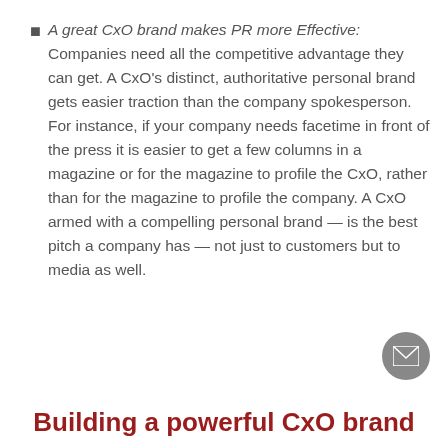A great CxO brand makes PR more Effective: Companies need all the competitive advantage they can get. A CxO's distinct, authoritative personal brand gets easier traction than the company spokesperson. For instance, if your company needs facetime in front of the press it is easier to get a few columns in a magazine or for the magazine to profile the CxO, rather than for the magazine to profile the company. A CxO armed with a compelling personal brand — is the best pitch a company has — not just to customers but to media as well.
Building a powerful CxO brand